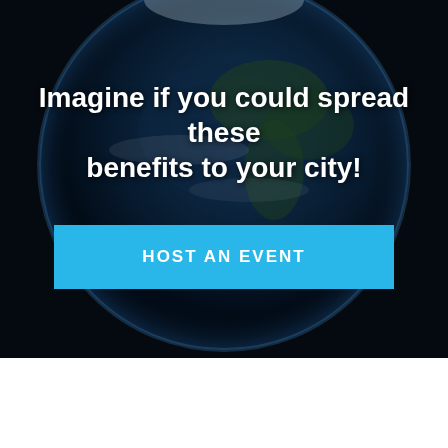[Figure (illustration): Dark background with a large Earth globe visible in the upper portion, showing continents and atmosphere against a black space background]
Imagine if you could spread these benefits to your city!
HOST AN EVENT